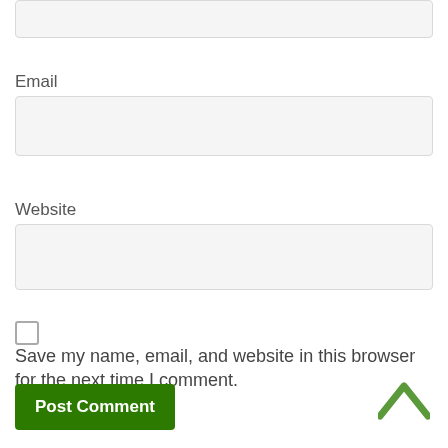[Figure (screenshot): Top portion of a text input field (partially visible at top of page)]
Email
[Figure (screenshot): Email input field, empty, light gray background with border]
Website
[Figure (screenshot): Website input field, empty, light gray background with border]
Save my name, email, and website in this browser for the next time I comment.
Post Comment
[Figure (other): Green chevron/up-arrow icon at bottom right]